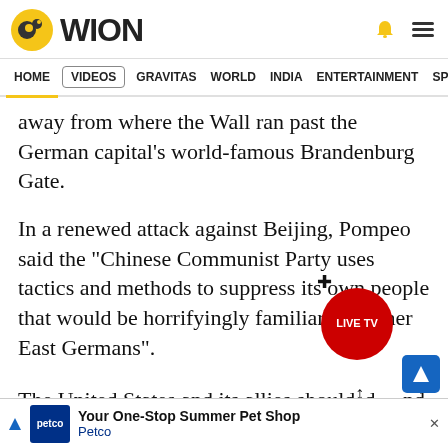WION
HOME | VIDEOS | GRAVITAS | WORLD | INDIA | ENTERTAINMENT | SPORTS
away from where the Wall ran past the German capital's world-famous Brandenburg Gate.
In a renewed attack against Beijing, Pompeo said the "Chinese Communist Party uses tactics and methods to suppress its own people that would be horrifyingly familiar to former East Germans".
The United States and its allies should defend what was so hard-won... in 1989" and "rise we are free nations